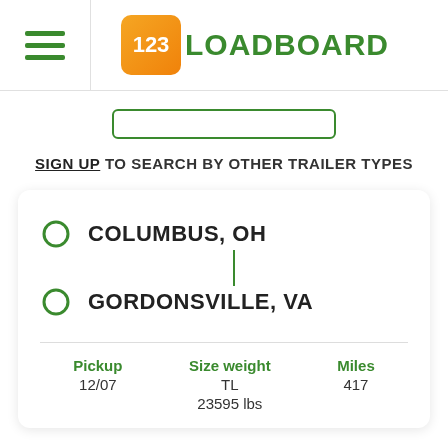123LOADBOARD
SIGN UP TO SEARCH BY OTHER TRAILER TYPES
COLUMBUS, OH → GORDONSVILLE, VA
| Pickup | Size weight | Miles |
| --- | --- | --- |
| 12/07 | TL
23595 lbs | 417 |